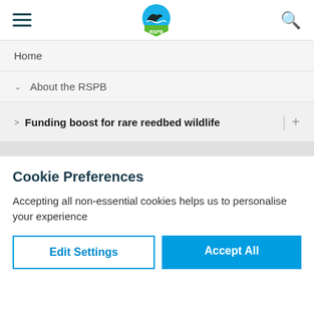[Figure (logo): RSPB logo — blue circle with bird silhouette and green shield with RSPB text, flanked by hamburger menu icon and search icon]
Home
About the RSPB
Funding boost for rare reedbed wildlife
Cookie Preferences
Accepting all non-essential cookies helps us to personalise your experience
Edit Settings
Accept All